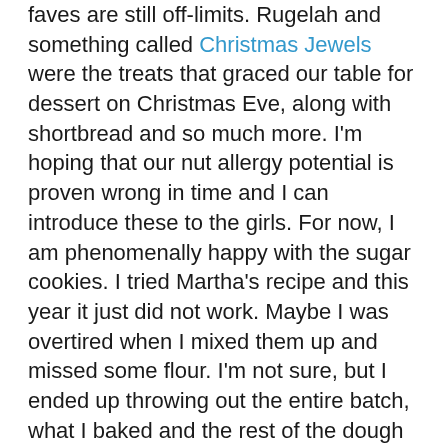faves are still off-limits. Rugelah and something called Christmas Jewels were the treats that graced our table for dessert on Christmas Eve, along with shortbread and so much more. I'm hoping that our nut allergy potential is proven wrong in time and I can introduce these to the girls. For now, I am phenomenally happy with the sugar cookies. I tried Martha's recipe and this year it just did not work. Maybe I was overtired when I mixed them up and missed some flour. I'm not sure, but I ended up throwing out the entire batch, what I baked and the rest of the dough after I gave up - an entire pound of butter all said and done. I remembered Julie posting about them after her adventures in Jasper and tried her recipe. Oh. My. Gawd. Fantastic. Nearly as good as these ones, but homemade.
I changed Julie's recipe only in delivery. Rather than roll them into balls and press them down I pressed the dough into a rectangle, sprinkled them with vanilla sugar, and cut out squares. The dough is quite soft, so I thought this would work better. Besides, I already had round cookies and wanted variety.
It was back to Julie for the biscotti as well. I used her basic recipe and added my own flavourings. There were dried